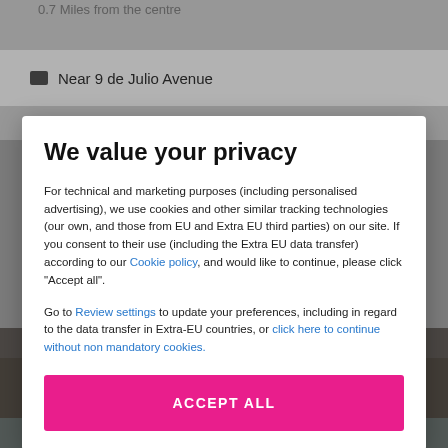0.7 Miles from the centre
Near 9 de Julio Avenue
We value your privacy
For technical and marketing purposes (including personalised advertising), we use cookies and other similar tracking technologies (our own, and those from EU and Extra EU third parties) on our site. If you consent to their use (including the Extra EU data transfer) according to our Cookie policy, and would like to continue, please click "Accept all".
Go to Review settings to update your preferences, including in regard to the data transfer in Extra-EU countries, or click here to continue without non mandatory cookies.
ACCEPT ALL
[Figure (photo): Hotel room photo visible in background behind modal dialog]